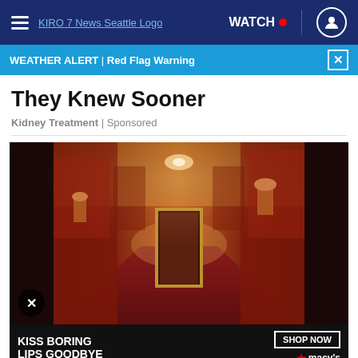KIRO 7 News Seattle | WATCH | Navigation
WEATHER ALERT | Red Flag Warning
They Knew Sooner
Kidney Treatment | Sponsored
[Figure (photo): Long ornate hotel hallway with red carpet, red textured walls with gold trim, wall sconces, and dark wood doors receding into the distance with warm amber lighting]
[Figure (photo): Advertisement banner: KISS BORING LIPS GOODBYE with SHOP NOW button and Macy's logo]
Ashbu... ...e To